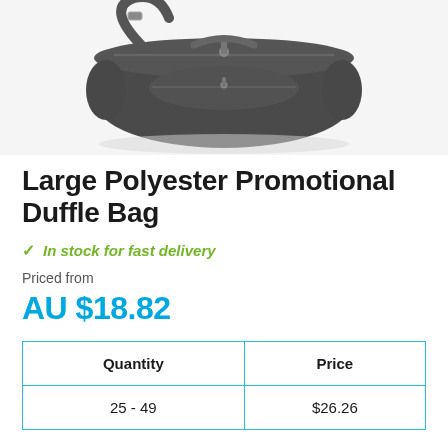[Figure (photo): Dark grey large polyester duffle bag with shoulder strap, multiple zippered compartments, shown from a three-quarter angle against white background]
Large Polyester Promotional Duffle Bag
In stock for fast delivery
Priced from
AU $18.82
| Quantity | Price |
| --- | --- |
| 25 - 49 | $26.26 |